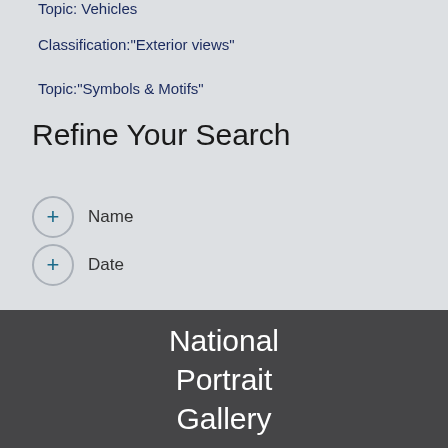Topic: Vehicles
Classification:"Exterior views"
Topic:"Symbols & Motifs"
Refine Your Search
+ Name
+ Date
National Portrait Gallery